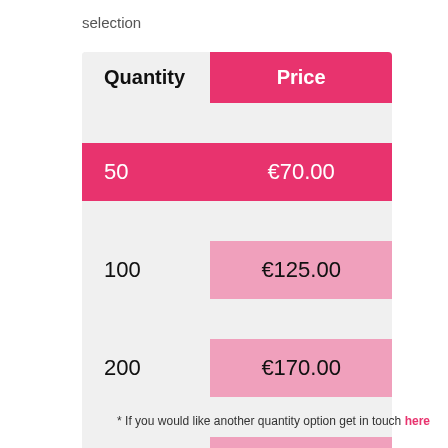selection
| Quantity | Price |
| --- | --- |
| 50 | €70.00 |
| 100 | €125.00 |
| 200 | €170.00 |
| 300 | €220.00 |
| 400 | €280.00 |
* If you would like another quantity option get in touch here